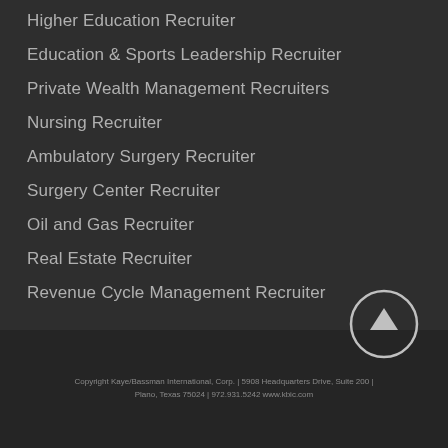Higher Education Recruiter
Education & Sports Leadership Recruiter
Private Wealth Management Recruiters
Nursing Recruiter
Ambulatory Surgery Recruiter
Surgery Center Recruiter
Oil and Gas Recruiter
Real Estate Recruiter
Revenue Cycle Management Recruiter
Copyright Kaye/Bassman International, Corp. | 5908 Headquarters Drive, Suite 200 | Plano, Texas 75024 | 972.931.5242 www.kbic.com